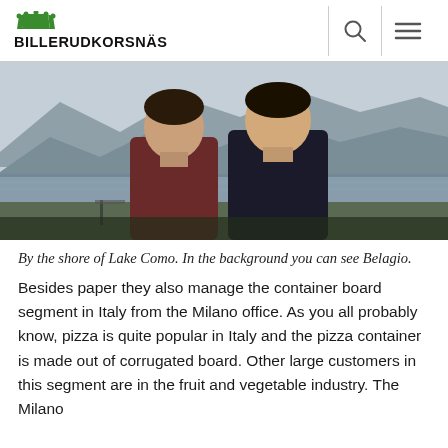BILLERUDKORSNÄS
[Figure (photo): Two men standing side by side by the shore of Lake Como with mountains and water visible in the background.]
By the shore of Lake Como. In the background you can see Belagio.
Besides paper they also manage the container board segment in Italy from the Milano office. As you all probably know, pizza is quite popular in Italy and the pizza container is made out of corrugated board. Other large customers in this segment are in the fruit and vegetable industry. The Milano